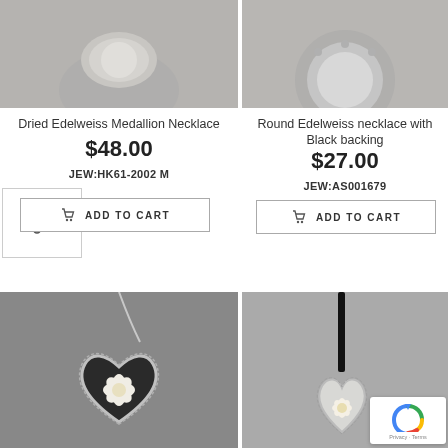[Figure (photo): Top portion of Dried Edelweiss Medallion Necklace product photo on gray background]
[Figure (photo): Top portion of Round Edelweiss necklace with Black backing product photo on gray background]
Dried Edelweiss Medallion Necklace
$48.00
JEW:HK61-2002 M
ADD TO CART
Round Edelweiss necklace with Black backing
$27.00
JEW:AS001679
ADD TO CART
[Figure (photo): Heart-shaped Edelweiss pendant necklace with silver chain on gray background]
[Figure (photo): Heart-shaped Edelweiss pendant necklace on black cord on gray background, with reCAPTCHA Privacy-Terms overlay]